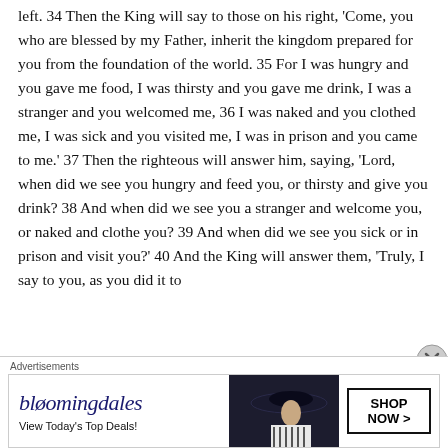left. 34 Then the King will say to those on his right, 'Come, you who are blessed by my Father, inherit the kingdom prepared for you from the foundation of the world. 35 For I was hungry and you gave me food, I was thirsty and you gave me drink, I was a stranger and you welcomed me, 36 I was naked and you clothed me, I was sick and you visited me, I was in prison and you came to me.' 37 Then the righteous will answer him, saying, 'Lord, when did we see you hungry and feed you, or thirsty and give you drink? 38 And when did we see you a stranger and welcome you, or naked and clothe you? 39 And when did we see you sick or in prison and visit you?' 40 And the King will answer them, 'Truly, I say to you, as you did it to
[Figure (other): Bloomingdale's advertisement banner with logo, tagline 'View Today's Top Deals!', a woman wearing a large hat, and a 'SHOP NOW >' button.]